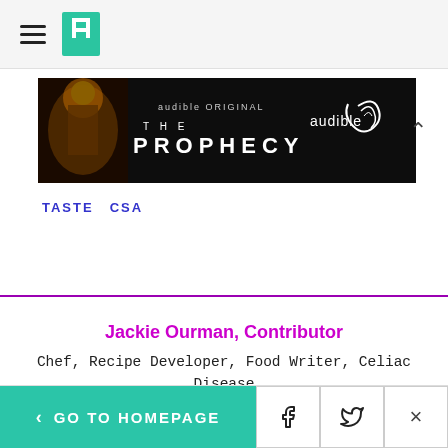HuffPost navigation header with hamburger menu and logo
[Figure (other): Audible Original advertisement banner for 'The Prophecy' showing a dark fantasy figure with text 'audible ORIGINAL THE PROPHECY' and audible logo]
TASTE   CSA
Jackie Ourman, Contributor
Chef, Recipe Developer, Food Writer, Celiac Disease and Food Allergy Advocate
< GO TO HOMEPAGE  [Facebook icon]  [Twitter icon]  [X/Close icon]